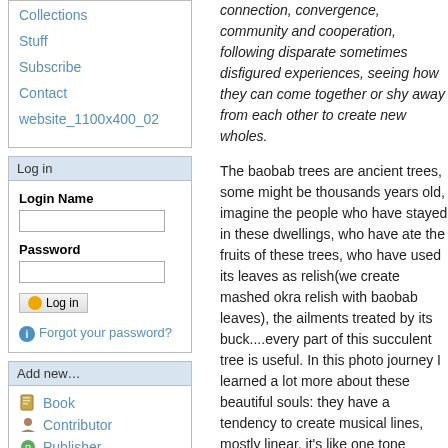Collections
Stuff
Subscribe
Contact
website_1100x400_02
Log in
Login Name
Password
Log in
Forgot your password?
Add new…
Book
Contributor
Publisher
connection, convergence, community and cooperation, following disparate sometimes disfigured experiences, seeing how they can come together or shy away from each other to create new wholes.
The baobab trees are ancient trees, some might be thousands years old, imagine the people who have stayed in these dwellings, who have ate the fruits of these trees, who have used its leaves as relish(we create mashed okra relish with baobab leaves), the ailments treated by its buck....every part of this succulent tree is useful. In this photo journey I learned a lot more about these beautiful souls: they have a tendency to create musical lines, mostly linear, it's like one tone starting it, fading and letting the next tone to take over and this will fade and let another tone to take over, such that you can see the lines, how they conjoin to create music beyond human understanding. And most of the Baobabs, I realized, inhabit the same place in